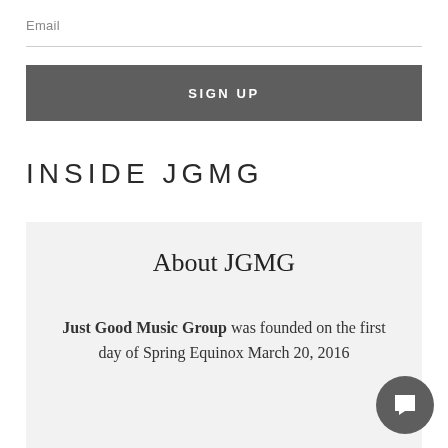Email
SIGN UP
INSIDE JGMG
About JGMG
Just Good Music Group was founded on the first day of Spring Equinox March 20, 2016